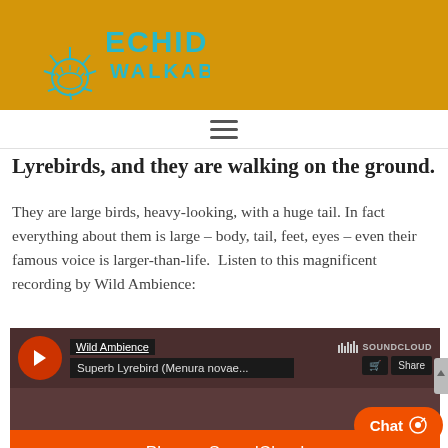[Figure (logo): Echidna Walkabout logo with sun/echidna illustration in cyan on golden yellow background]
[Figure (other): Hamburger navigation menu icon (three horizontal lines)]
Lyrebirds, and they are walking on the ground.
They are large birds, heavy-looking, with a huge tail. In fact everything about them is large – body, tail, feet, eyes – even their famous voice is larger-than-life.  Listen to this magnificent recording by Wild Ambience:
[Figure (screenshot): SoundCloud embedded player for Wild Ambience - Superb Lyrebird (Menura novae...) with orange play button, dark brown background, Play on SoundCloud button, and Listen in browser button]